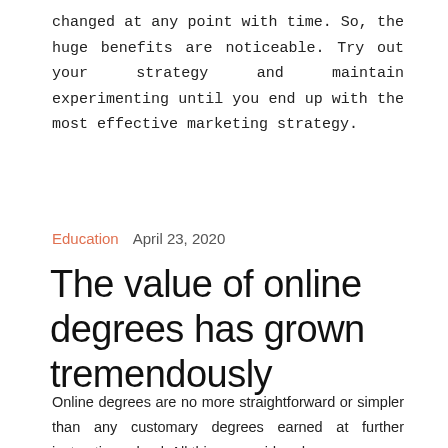changed at any point with time. So, the huge benefits are noticeable. Try out your strategy and maintain experimenting until you end up with the most effective marketing strategy.
Education   April 23, 2020
The value of online degrees has grown tremendously
Online degrees are no more straightforward or simpler than any customary degrees earned at further instruction school. All things considered